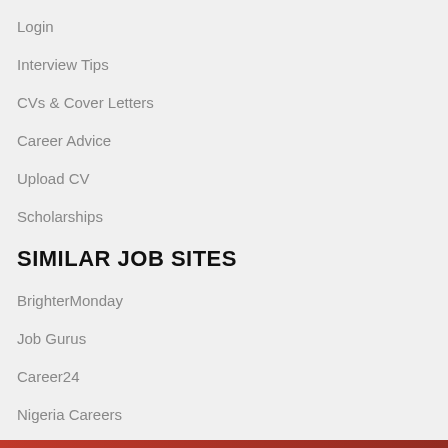Login
Interview Tips
CVs & Cover Letters
Career Advice
Upload CV
Scholarships
SIMILAR JOB SITES
BrighterMonday
Job Gurus
Career24
Nigeria Careers
Jobs in South Africa
Jooble